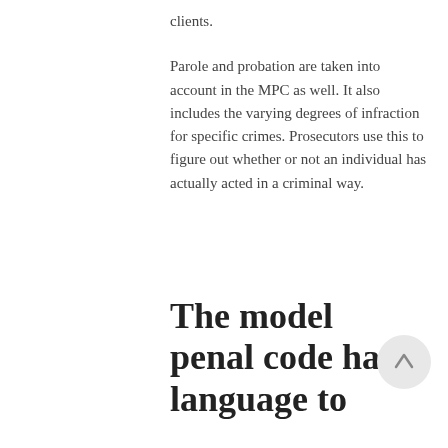clients.
Parole and probation are taken into account in the MPC as well. It also includes the varying degrees of infraction for specific crimes. Prosecutors use this to figure out whether or not an individual has actually acted in a criminal way.
The model penal code has language to